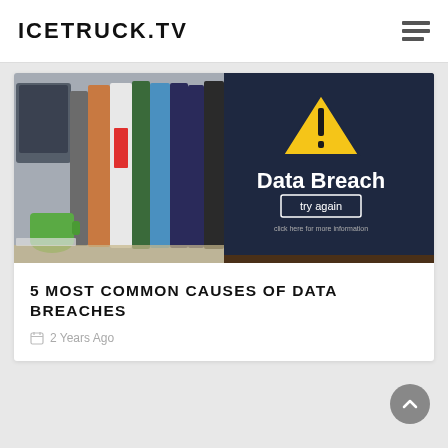ICETRUCK.TV
[Figure (photo): Composite image: left side shows colorful office binders/folders on a shelf with a mug and computer monitor; right side shows a dark computer screen displaying 'Data Breach' with a yellow warning triangle and a 'try again' button.]
5 MOST COMMON CAUSES OF DATA BREACHES
2 Years Ago